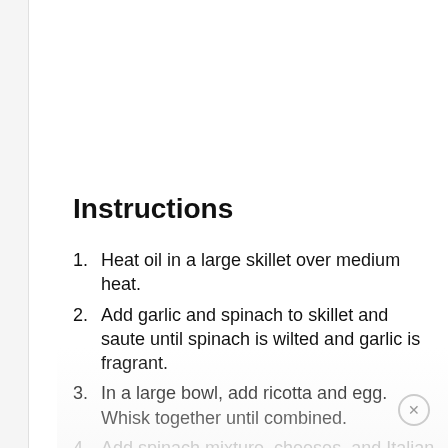Instructions
Heat oil in a large skillet over medium heat.
Add garlic and spinach to skillet and saute until spinach is wilted and garlic is fragrant.
In a large bowl, add ricotta and egg. Whisk together until combined.
Add spinach mixture, cheeses, and Italian seasoning and stir to combine.